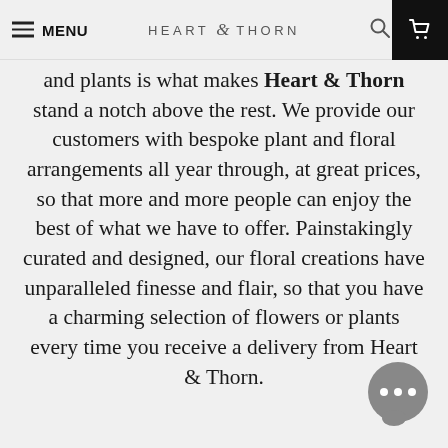MENU | HEART & THORN
and plants is what makes Heart & Thorn stand a notch above the rest. We provide our customers with bespoke plant and floral arrangements all year through, at great prices, so that more and more people can enjoy the best of what we have to offer. Painstakingly curated and designed, our floral creations have unparalleled finesse and flair, so that you have a charming selection of flowers or plants every time you receive a delivery from Heart & Thorn.